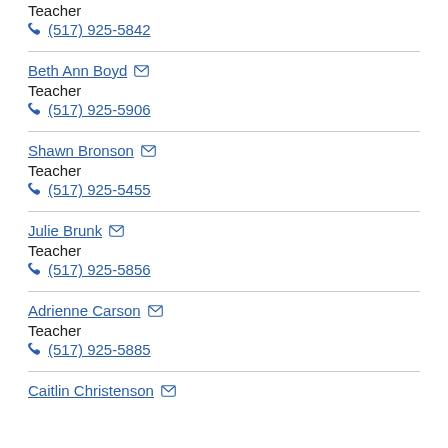Teacher
(517) 925-5842
Beth Ann Boyd
Teacher
(517) 925-5906
Shawn Bronson
Teacher
(517) 925-5455
Julie Brunk
Teacher
(517) 925-5856
Adrienne Carson
Teacher
(517) 925-5885
Caitlin Christenson